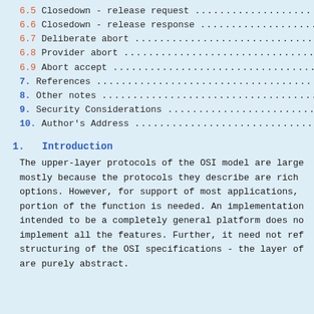6.5 Closedown - release request .................
6.6 Closedown - release response ................
6.7 Deliberate abort .............................
6.8 Provider abort ...............................
6.9 Abort accept .................................
7. References ....................................
8. Other notes ...................................
9. Security Considerations .......................
10. Author's Address .............................
1.   Introduction
The upper-layer protocols of the OSI model are large mostly because the protocols they describe are rich options. However, for support of most applications, portion of the function is needed. An implementation intended to be a completely general platform does no implement all the features. Further, it need not ref structuring of the OSI specifications - the layer of are purely abstract.